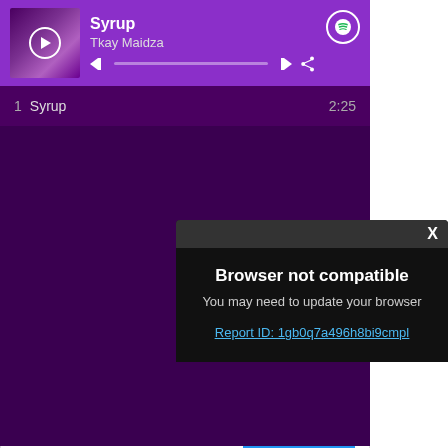[Figure (screenshot): Spotify web player showing song 'Syrup' by Tkay Maidza with purple theme, play controls, and track list]
[Figure (screenshot): Browser popup dialog with dark background showing 'Browser not compatible' error message with report ID link]
[Figure (screenshot): Advertisement card for 'Genuine' leather product with 'Shop Now' button and brand name Noémie]